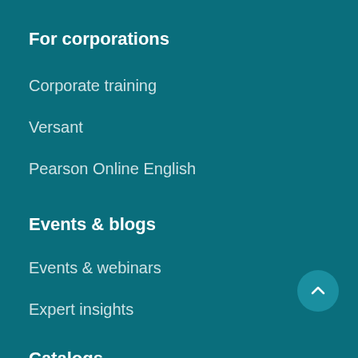For corporations
Corporate training
Versant
Pearson Online English
Events & blogs
Events & webinars
Expert insights
Catalogs
Online ELT catalog